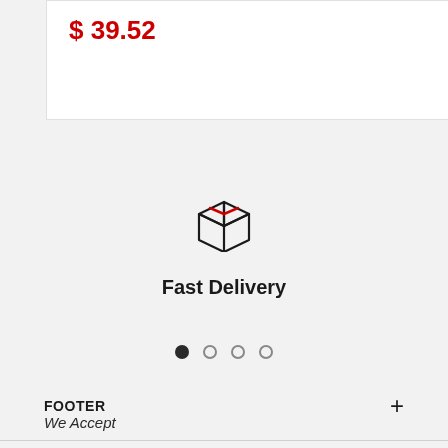$ 39.52
[Figure (illustration): Package/box delivery icon — a line-drawn box/cube with two red diagonal stripes across the top face, representing fast delivery service]
Fast Delivery
[Figure (infographic): Carousel navigation dots — four dots in a row; first dot is filled solid dark, remaining three are outline/lighter indicating carousel position]
FOOTER
We Accept